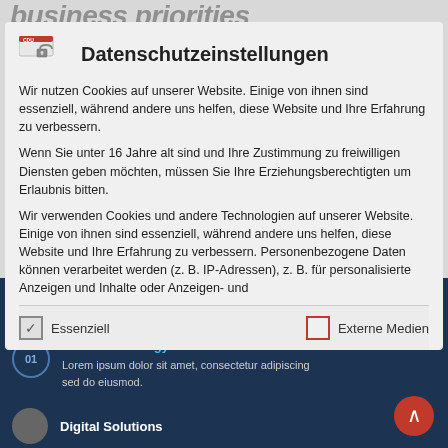business priorities
Datenschutzeinstellungen
Wir nutzen Cookies auf unserer Website. Einige von ihnen sind essenziell, während andere uns helfen, diese Website und Ihre Erfahrung zu verbessern.
Wenn Sie unter 16 Jahre alt sind und Ihre Zustimmung zu freiwilligen Diensten geben möchten, müssen Sie Ihre Erziehungsberechtigten um Erlaubnis bitten.
Wir verwenden Cookies und andere Technologien auf unserer Website. Einige von ihnen sind essenziell, während andere uns helfen, diese Website und Ihre Erfahrung zu verbessern. Personenbezogene Daten können verarbeitet werden (z. B. IP-Adressen), z. B. für personalisierte Anzeigen und Inhalte oder Anzeigen- und
✓ Essenziell
☐ Externe Medien
Alle akzeptieren
Creative Strategy
Lorem ipsum dolor sit amet, consectetur adipiscing sed do eiusmod.
Digital Solutions